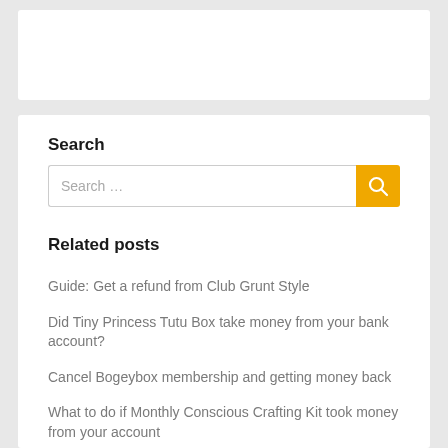[Figure (other): Empty white card / advertisement placeholder at top of page]
Search
[Figure (other): Search input bar with placeholder text 'Search ...' and an amber/yellow search button with magnifying glass icon]
Related posts
Guide: Get a refund from Club Grunt Style
Did Tiny Princess Tutu Box take money from your bank account?
Cancel Bogeybox membership and getting money back
What to do if Monthly Conscious Crafting Kit took money from your account